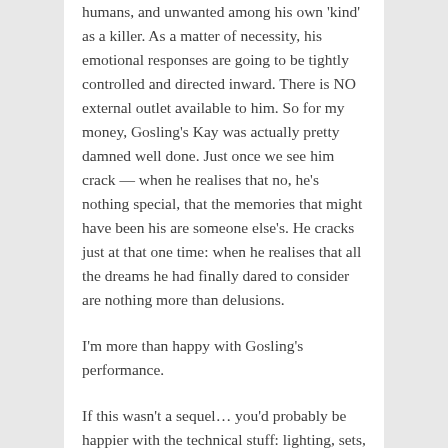humans, and unwanted among his own 'kind' as a killer. As a matter of necessity, his emotional responses are going to be tightly controlled and directed inward. There is NO external outlet available to him. So for my money, Gosling's Kay was actually pretty damned well done. Just once we see him crack — when he realises that no, he's nothing special, that the memories that might have been his are someone else's. He cracks just at that one time: when he realises that all the dreams he had finally dared to consider are nothing more than delusions.
I'm more than happy with Gosling's performance.
If this wasn't a sequel… you'd probably be happier with the technical stuff: lighting, sets, visuals of all kinds. And why not? They're beautiful. But it's a sequel, and the original laid out the blueprint. Villeneuve stays true to that original vision — but dares not overwrite it. (And how could he? Who